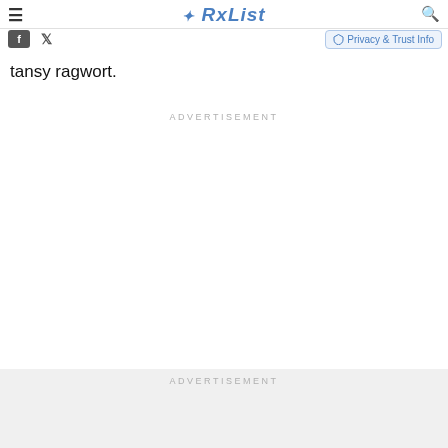RxList
tansy ragwort.
ADVERTISEMENT
ADVERTISEMENT